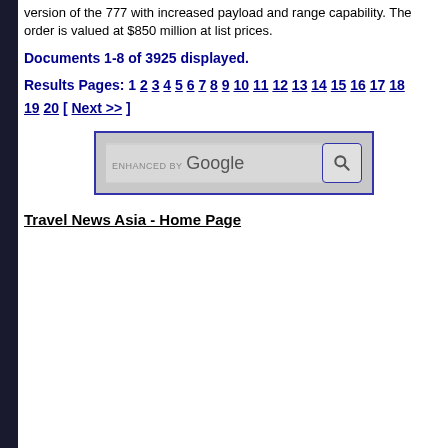version of the 777 with increased payload and range capability. The order is valued at $850 million at list prices.
Documents 1-8 of 3925 displayed.
Results Pages: 1 2 3 4 5 6 7 8 9 10 11 12 13 14 15 16 17 18 19 20 [ Next >> ]
[Figure (screenshot): Google search box with 'ENHANCED BY Google' label and search button]
Travel News Asia - Home Page